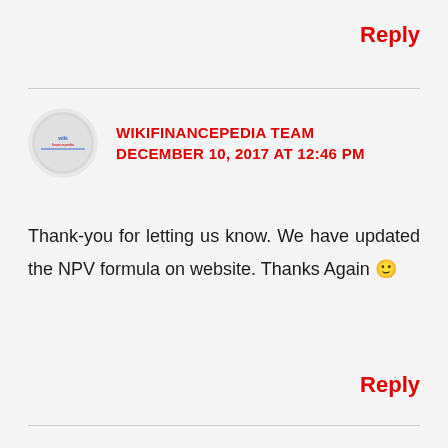Reply
[Figure (logo): Wikifinancepedia circular avatar/logo]
WIKIFINANCEPEDIA TEAM
DECEMBER 10, 2017 AT 12:46 PM
Thank-you for letting us know. We have updated the NPV formula on website. Thanks Again 🙂
Reply